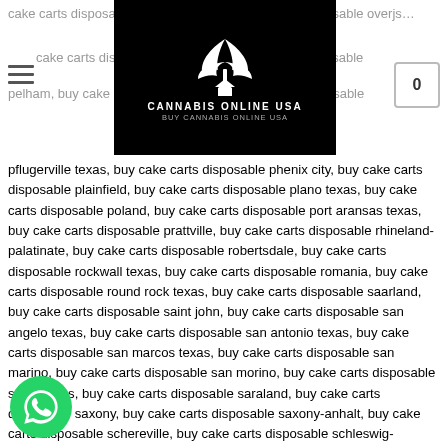cake carts disposable orange... cake carts disposable overjs... cake carts disposable pe... y cake carts disposable pelham, buy cake carts dispo... buy cake carts disposable
[Figure (logo): Cannabis Online USA logo — black background with white cannabis leaf and house icon, text CANNABIS ONLINE USA, BUY CANNABIS ONLINE USA]
pflugerville texas, buy cake carts disposable phenix city, buy cake carts disposable plainfield, buy cake carts disposable plano texas, buy cake carts disposable poland, buy cake carts disposable port aransas texas, buy cake carts disposable prattville, buy cake carts disposable rhineland-palatinate, buy cake carts disposable robertsdale, buy cake carts disposable rockwall texas, buy cake carts disposable romania, buy cake carts disposable round rock texas, buy cake carts disposable saarland, buy cake carts disposable saint john, buy cake carts disposable san angelo texas, buy cake carts disposable san antonio texas, buy cake carts disposable san marcos texas, buy cake carts disposable san marino, buy cake carts disposable san morino, buy cake carts disposable santa claus, buy cake carts disposable saraland, buy cake carts disposable saxony, buy cake carts disposable saxony-anhalt, buy cake carts disposable schereville, buy cake carts disposable schleswig-holstein, buy cake carts disposable scottsboro, buy cake carts disposable scottsburg, buy cake carts disposable sellersburg, buy cake carts disposable selma, buy cake carts disposable serbia, buy cake carts disposable shipshewana, buy cake carts disposable slovakia, buy cake carts disposable slovenia, buy cake carts disposable south bend, buy cake carts disposable south holland, buy